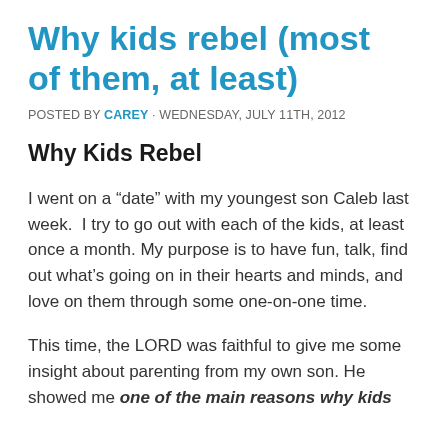Why kids rebel (most of them, at least)
POSTED BY CAREY · WEDNESDAY, JULY 11TH, 2012
Why Kids Rebel
I went on a “date” with my youngest son Caleb last week.  I try to go out with each of the kids, at least once a month. My purpose is to have fun, talk, find out what’s going on in their hearts and minds, and love on them through some one-on-one time.
This time, the LORD was faithful to give me some insight about parenting from my own son. He showed me one of the main reasons why kids